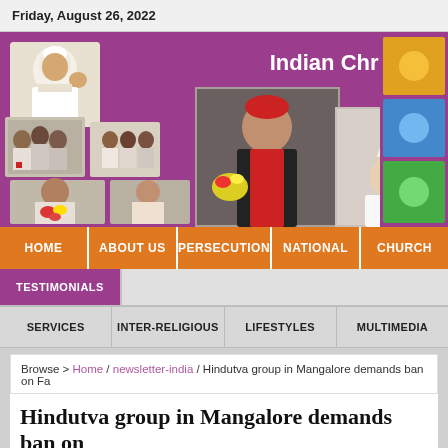Friday, August 26, 2022
[Figure (illustration): Indian Christian website header banner with purple background, showing collage of religious figures including Pope Francis waving, a Cardinal in red holding flowers, Pope Benedict XVI in papal mitre, and various group photos of Indian Christians. Text says 'Indian Christian' in white on right side.]
HOME | ABOUT US | PERSECUTION | NATIONAL | CHURCH
TESTIMONIALS
SERVICES | INTER-RELIGIOUS | LIFESTYLES | MULTIMEDIA
Browse > Home / newsletter-india / Hindutva group in Mangalore demands ban on Fa
Hindutva group in Mangalore demands ban on